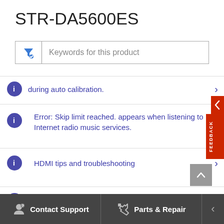STR-DA5600ES
Keywords for this product
during auto calibration.
Error: Skip limit reached. appears when listening to Internet radio music services.
HDMI tips and troubleshooting
Basic HDMI troubleshooting tips when there is no audio or video signal between a device and the TV.
Contact Support
Parts & Repair